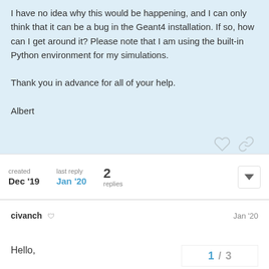I have no idea why this would be happening, and I can only think that it can be a bug in the Geant4 installation. If so, how can I get around it? Please note that I am using the built-in Python environment for my simulations.

Thank you in advance for all of your help.

Albert
created Dec '19  last reply Jan '20  2 replies
civanch  Jan '20
Hello,
1 / 3